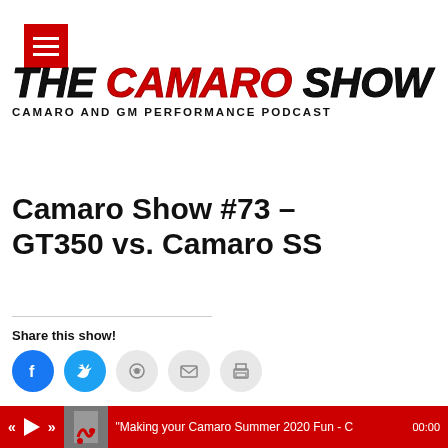[Figure (logo): Hamburger menu icon — red square with three white horizontal lines]
[Figure (logo): The Camaro Show logo — italic bold text 'THE CAMARO SHOW' with CAMARO in red, subtitle 'CAMARO AND GM PERFORMANCE PODCAST']
Camaro Show #73 – GT350 vs. Camaro SS
Share this show!
[Figure (infographic): Row of social share buttons: Facebook (blue circle), Twitter (blue circle), Reddit (grey circle), Email (grey circle), Print (grey circle)]
[Figure (screenshot): Audio player bar showing play button, 00:00 time stamps, and a progress track on dark background]
[Figure (screenshot): Red bottom media bar with skip-back, play, skip-forward controls, album art thumbnail, track title 'Making your Camaro Summer 2020 Fun - C', and time 00:00]